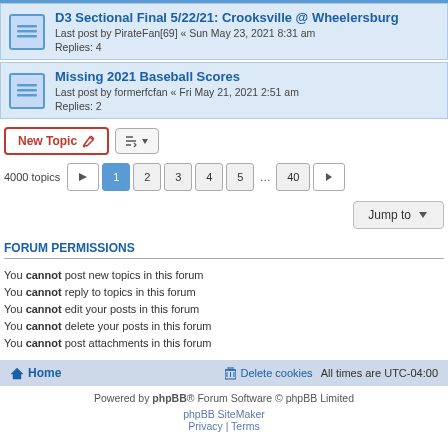D3 Sectional Final 5/22/21: Crooksville @ Wheelersburg — Last post by PirateFan[69] « Sun May 23, 2021 8:31 am — Replies: 4
Missing 2021 Baseball Scores — Last post by formerfcfan « Fri May 21, 2021 2:51 am — Replies: 2
New Topic | Sort | 4000 topics | Page 1 2 3 4 5 ... 40 > | Jump to
FORUM PERMISSIONS
You cannot post new topics in this forum
You cannot reply to topics in this forum
You cannot edit your posts in this forum
You cannot delete your posts in this forum
You cannot post attachments in this forum
Home | Delete cookies | All times are UTC-04:00
Powered by phpBB® Forum Software © phpBB Limited
phpBB SiteMaker
Privacy | Terms